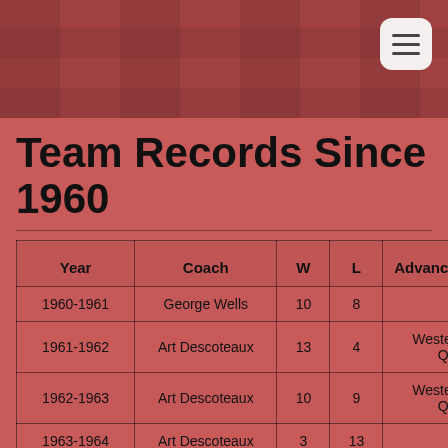Team Records Since 1960
| Year | Coach | W | L | Advancement in P |
| --- | --- | --- | --- | --- |
| 1960-1961 | George Wells | 10 | 8 |  |
| 1961-1962 | Art Descoteaux | 13 | 4 | Western Maine Quarte |
| 1962-1963 | Art Descoteaux | 10 | 9 | Western Maine Quarte |
| 1963-1964 | Art Descoteaux | 3 | 13 |  |
| 1964-1965 | Art Descoteaux | 7 | 10 | Western Maine Quarte |
| 1965-1966 | Art Descoteaux | 16 | 2 | Western Maine Semi |
| 1966-1967 | Art Descoteaux | 13 | 3 | Western Maine Semi |
| 1967-1968 | Art Descoteaux | 10 | 8 | Western Maine Quart |